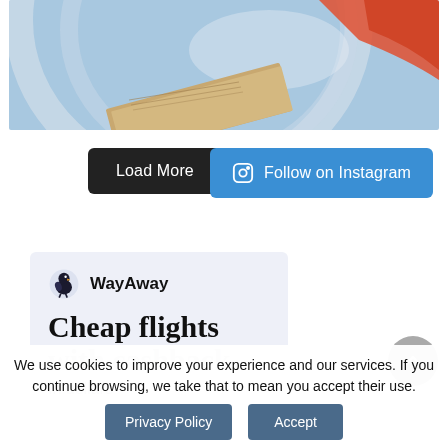[Figure (photo): Close-up photo of what appears to be a globe or circular travel-related object with blue and orange/red tones, with a book or document visible at the bottom]
Load More
Follow on Instagram
[Figure (infographic): WayAway advertisement banner with logo showing cheap flights with cashback in dollars]
We use cookies to improve your experience and our services. If you continue browsing, we take that to mean you accept their use.
Privacy Policy
Accept